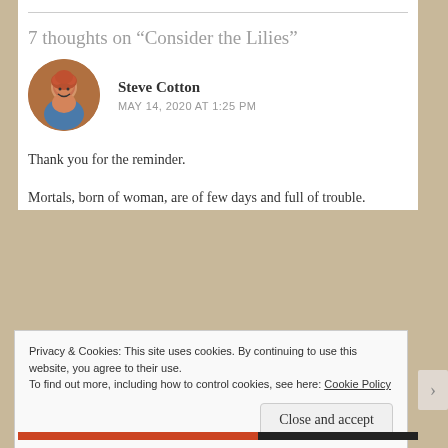7 thoughts on “Consider the Lilies”
[Figure (photo): Circular avatar photo of Steve Cotton, a smiling older man with red hair wearing a blue shirt.]
Steve Cotton
MAY 14, 2020 AT 1:25 PM
Thank you for the reminder.
Mortals, born of woman, are of few days and full of trouble.
Privacy & Cookies: This site uses cookies. By continuing to use this website, you agree to their use.
To find out more, including how to control cookies, see here: Cookie Policy
Close and accept